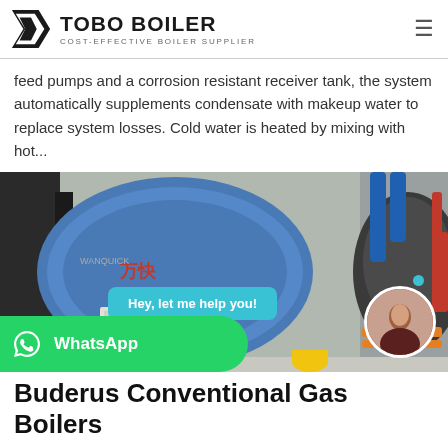TOBO BOILER — COST-EFFECTIVE BOILER SUPPLIER
feed pumps and a corrosion resistant receiver tank, the system automatically supplements condensate with makeup water to replace system losses. Cold water is heated by mixing with hot...
[Figure (photo): Industrial gas boilers in a boiler room — large cylindrical blue and dark boilers with orange and red pipework. Chat bubble overlay: 'Hey, let me help you!' with a customer service avatar. WhatsApp banner in lower left corner.]
Buderus Conventional Gas Boilers
Cleaning the boiler: Remove the boiler casing and thermal insulation, check for damage. Here are cleaning steps for the...